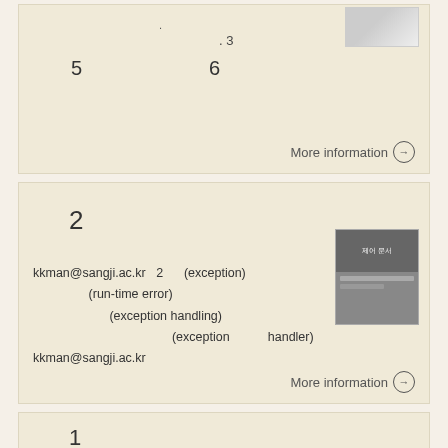. 3   4
5   6
More information →
[Figure (screenshot): Thumbnail image in top-right corner of top card]
2
kkman@sangji.ac.kr  2  (exception) (run-time error) (exception handling) (exception handler)
kkman@sangji.ac.kr
More information →
[Figure (screenshot): Dark gray screenshot thumbnail with text in mid card]
1
11.   try/catch